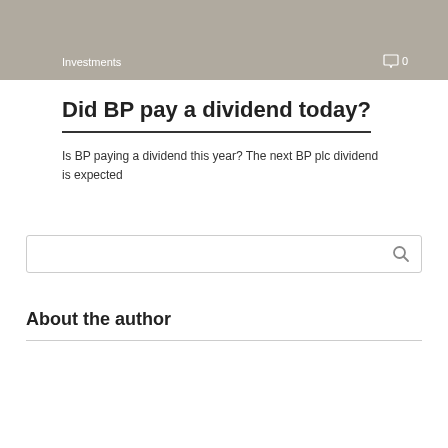[Figure (photo): Gray image banner with 'Investments' label on the left and a comment/speech bubble icon with '0' on the right]
Did BP pay a dividend today?
Is BP paying a dividend this year? The next BP plc dividend is expected
About the author